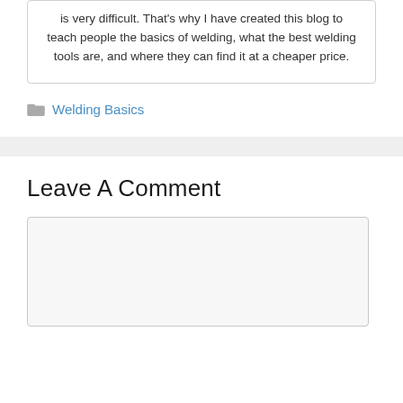is very difficult. That's why I have created this blog to teach people the basics of welding, what the best welding tools are, and where they can find it at a cheaper price.
Welding Basics
Leave A Comment